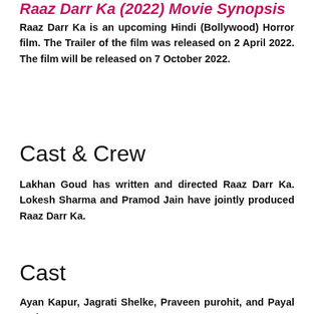Raaz Darr Ka (2022) Movie Synopsis
Raaz Darr Ka is an upcoming Hindi (Bollywood) Horror film. The Trailer of the film was released on 2 April 2022. The film will be released on 7 October 2022.
Cast & Crew
Lakhan Goud has written and directed Raaz Darr Ka. Lokesh Sharma and Pramod Jain have jointly produced Raaz Darr Ka.
Cast
Ayan Kapur, Jagrati Shelke, Praveen purohit, and Payal Rathore